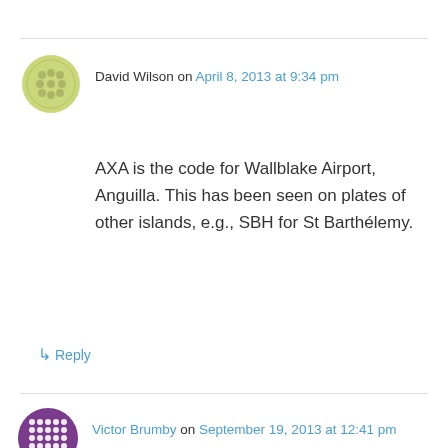David Wilson on April 8, 2013 at 9:34 pm
AXA is the code for Wallblake Airport, Anguilla. This has been seen on plates of other islands, e.g., SBH for St Barthélemy.
↳ Reply
Victor Brumby on September 19, 2013 at 12:41 pm
A very interesting email was received as a result
Privacy & Cookies: This site uses cookies. By continuing to use this website, you agree to their use.
To find out more, including how to control cookies, see here: Cookie Policy
Close and accept